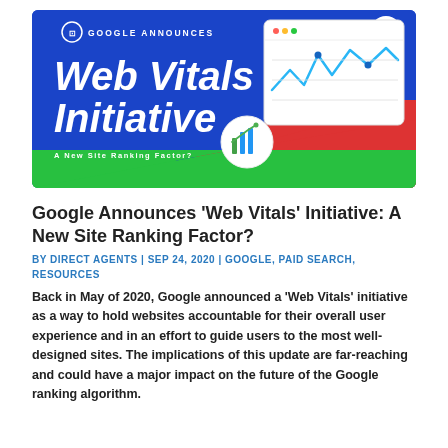[Figure (infographic): Colorful promotional banner for Google's Web Vitals Initiative. Blue, red, and green diagonal background with bold white italic text reading 'Web Vitals Initiative'. Header reads 'GOOGLE ANNOUNCES'. Subtitle reads 'A New Site Ranking Factor?'. Includes browser window mockup with chart and a circular analytics icon. Menu icon in top right corner.]
Google Announces ‘Web Vitals’ Initiative: A New Site Ranking Factor?
BY DIRECT AGENTS | SEP 24, 2020 | GOOGLE, PAID SEARCH, RESOURCES
Back in May of 2020, Google announced a ‘Web Vitals’ initiative as a way to hold websites accountable for their overall user experience and in an effort to guide users to the most well-designed sites. The implications of this update are far-reaching and could have a major impact on the future of the Google ranking algorithm.